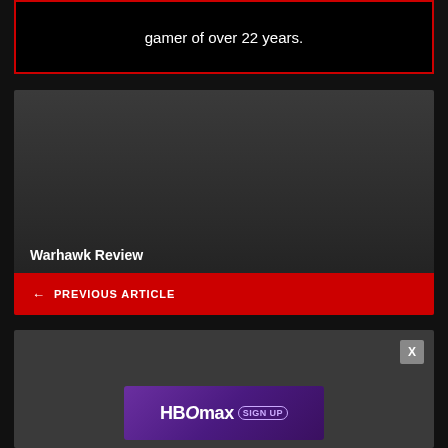gamer of over 22 years.
[Figure (screenshot): Article card for Warhawk Review with dark gradient background]
Warhawk Review
← PREVIOUS ARTICLE
[Figure (screenshot): Advertisement area with close X button and HBO Max Sign Up banner on purple gradient background]